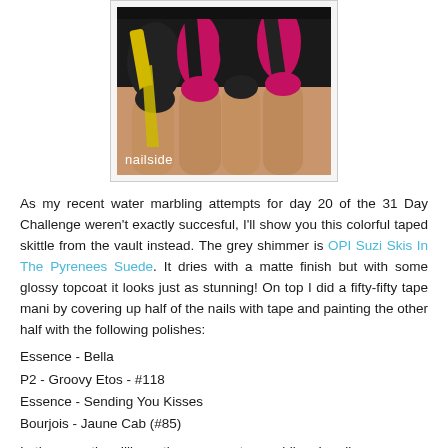[Figure (photo): Close-up photo of painted fingernails with black textured polish, yellow, magenta/pink, and black diagonal stripe designs. Watermark 'nailside' in lower left corner.]
As my recent water marbling attempts for day 20 of the 31 Day Challenge weren't exactly succesful, I'll show you this colorful taped skittle from the vault instead. The grey shimmer is OPI Suzi Skis In The Pyrenees Suede. It dries with a matte finish but with some glossy topcoat it looks just as stunning! On top I did a fifty-fifty tape mani by covering up half of the nails with tape and painting the other half with the following polishes:
Essence - Bella
P2 - Groovy Etos - #118
Essence - Sending You Kisses
Bourjois - Jaune Cab (#85)
In the meantime I'll practise more water marbling. I really